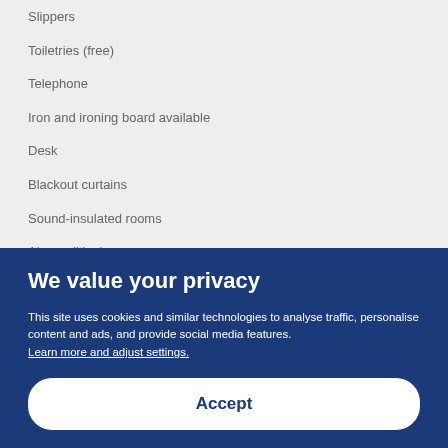Slippers
Toiletries (free)
Telephone
Iron and ironing board available
Desk
Blackout curtains
Sound-insulated rooms
Air conditioning
Ensuite bathroom
Unique furnishings
Unique decor
We value your privacy
This site uses cookies and similar technologies to analyse traffic, personalise content and ads, and provide social media features. Learn more and adjust settings.